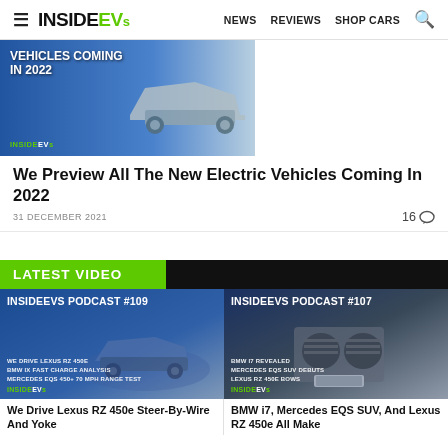InsideEVs — NEWS  REVIEWS  SHOP CARS
[Figure (photo): Article thumbnail showing electric vehicles coming in 2022 with Tesla Cybertruck silhouette on blue background with InsideEVs branding]
We Preview All The New Electric Vehicles Coming In 2022
31 DECEMBER 2021  16 comments
LATEST VIDEO
[Figure (photo): InsideEVs Podcast #109 thumbnail — We Drive Lexus RZ 450e, BMW iX Fast Charge Analysis, Mercedes EQS 450+ 70 MPH Range Test. Shows Lexus RZ 450e on blue background.]
[Figure (photo): InsideEVs Podcast #107 thumbnail — BMW i7 Revealed, Mercedes EQS SUV Debuts, Lexus RZ 450e Bows. Shows BMW i7 front grille.]
We Drive Lexus RZ 450e Steer-By-Wire And Yoke
BMW i7, Mercedes EQS SUV, And Lexus RZ 450e All Make